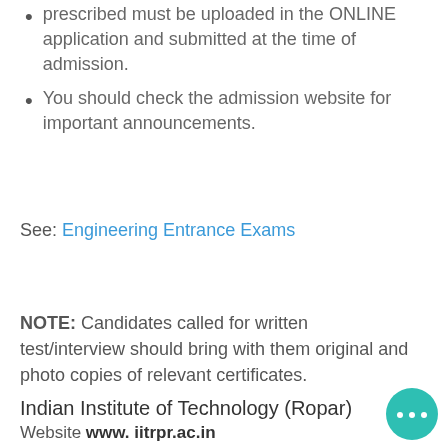prescribed must be uploaded in the ONLINE application and submitted at the time of admission.
You should check the admission website for important announcements.
See: Engineering Entrance Exams
NOTE: Candidates called for written test/interview should bring with them original and photo copies of relevant certificates.
Indian Institute of Technology (Ropar)
Website www. iitrpr.ac.in